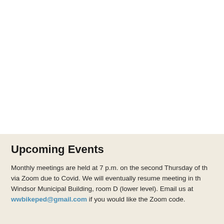Upcoming Events
Monthly meetings are held at 7 p.m. on the second Thursday of [the month] via Zoom due to Covid. We will eventually resume meeting in the Windsor Municipal Building, room D (lower level). Email us at wwbikeped@gmail.com if you would like the Zoom code.